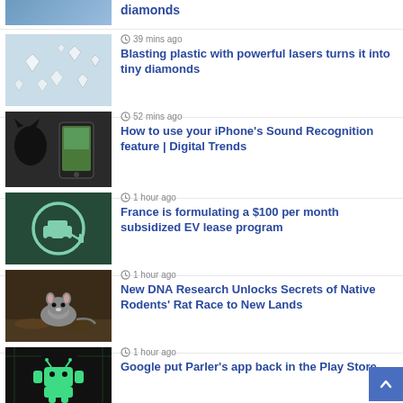[Figure (photo): Partial top image - person in blue shirt related to diamonds]
diamonds
39 mins ago
[Figure (photo): Close-up photo of scattered small diamonds on light background]
Blasting plastic with powerful lasers turns it into tiny diamonds
52 mins ago
[Figure (photo): Person holding iPhone near a cat]
How to use your iPhone's Sound Recognition feature | Digital Trends
1 hour ago
[Figure (photo): Dark teal background with EV charging symbol (car with plug icon)]
France is formulating a $100 per month subsidized EV lease program
1 hour ago
[Figure (photo): Rodent/rat sitting on ground outdoors]
New DNA Research Unlocks Secrets of Native Rodents' Rat Race to New Lands
1 hour ago
[Figure (photo): Dark digital art background with green Android robot logo]
Google put Parler's app back in the Play Store